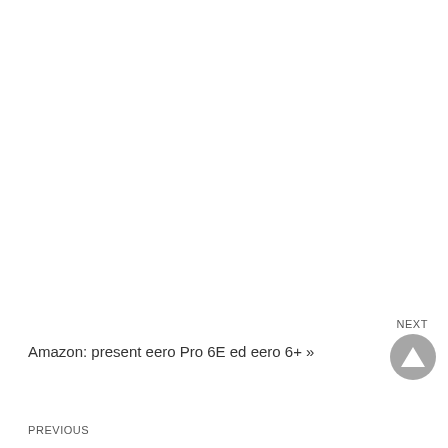NEXT
Amazon: present eero Pro 6E ed eero 6+ »
PREVIOUS